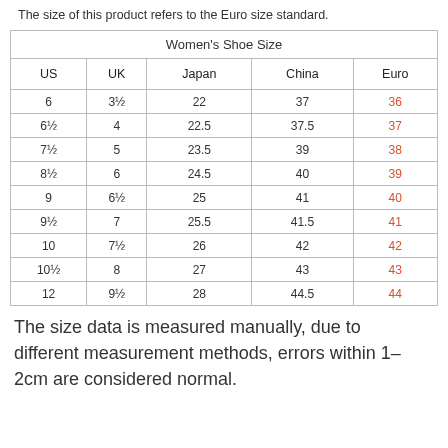The size of this product refers to the Euro size standard.
| Women's Shoe Size |  |  |  |  |
| --- | --- | --- | --- | --- |
| US | UK | Japan | China | Euro |
| 6 | 3½ | 22 | 37 | 36 |
| 6½ | 4 | 22.5 | 37.5 | 37 |
| 7½ | 5 | 23.5 | 39 | 38 |
| 8½ | 6 | 24.5 | 40 | 39 |
| 9 | 6½ | 25 | 41 | 40 |
| 9½ | 7 | 25.5 | 41.5 | 41 |
| 10 | 7½ | 26 | 42 | 42 |
| 10½ | 8 | 27 | 43 | 43 |
| 12 | 9½ | 28 | 44.5 | 44 |
The size data is measured manually, due to different measurement methods, errors within 1–2cm are considered normal.